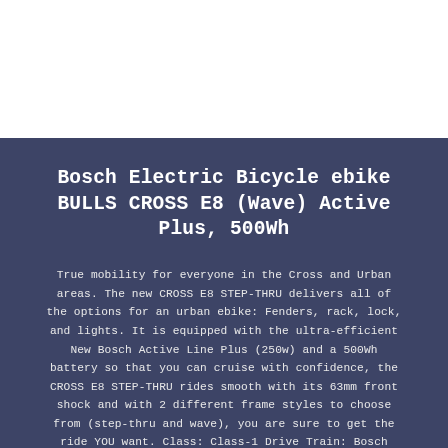Bosch Electric Bicycle ebike BULLS CROSS E8 (Wave) Active Plus, 500Wh
True mobility for everyone in the Cross and Urban areas. The new CROSS E8 STEP-THRU delivers all of the options for an urban ebike: Fenders, rack, lock, and lights. It is equipped with the ultra-efficient New Bosch Active Line Plus (250w) and a 500Wh battery so that you can cruise with confidence, the CROSS E8 STEP-THRU rides smooth with its 63mm front shock and with 2 different frame styles to choose from (step-thru and wave), you are sure to get the ride YOU want. Class: Class-1 Drive Train: Bosch Active Line Plus (250w) Display : Bosch Purion Battery: Bosch PowerPack (rack-type), 36V/13.4Ah/500Wh, 4 modes: Eco, Tour, eMTB, Turbo Battery Range: Up to 134 miles (single charge at optimal conditions) Charging Time: Approx. 4.5h to